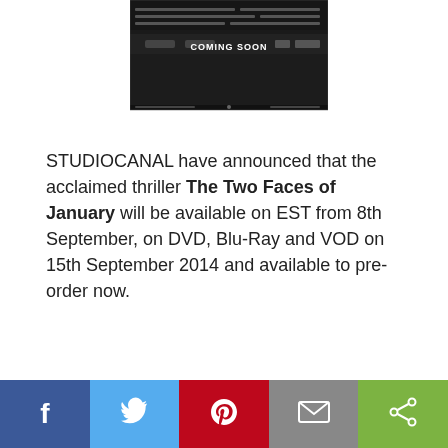[Figure (screenshot): Screenshot of a dark movie website showing 'COMING SOON' text and a film promo banner for The Two Faces of January]
STUDIOCANAL have announced that the acclaimed thriller The Two Faces of January will be available on EST from 8th September, on DVD, Blu-Ray and VOD on 15th September 2014 and available to pre-order now.
[Figure (infographic): Social share bar with Facebook, Twitter, Pinterest, Email, and Share buttons]